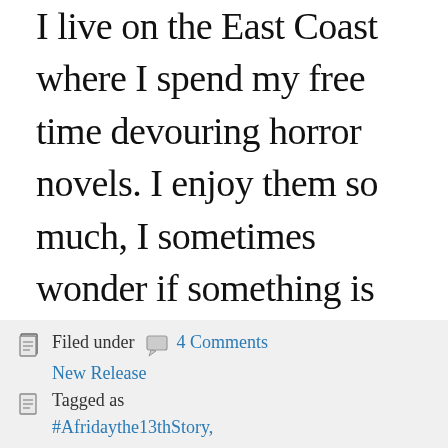I live on the East Coast where I spend my free time devouring horror novels. I enjoy them so much, I sometimes wonder if something is wrong with me… To be safe, I decided to channel my affinity for the macabre into writing about it rather than acting it out… you're welcome.
Filed under   4 Comments
New Release
Tagged as
#Afridaythe13thStory,